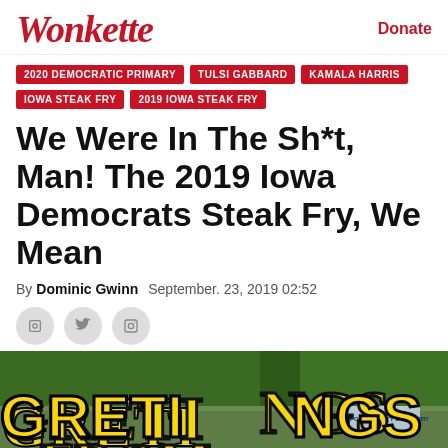Wonkette
Donate
2020 DEMOCRATIC PRIMARY
TULSI GABBARD
KAMALA HARRIS
IOWA STEAK FRY
2019 IOWA STEAK FRY
We Were In The Sh*t, Man! The 2019 Iowa Democrats Steak Fry, We Mean
By Dominic Gwinn  September. 23, 2019 02:52
[Figure (photo): Crowd photo at the 2019 Iowa Democrats Steak Fry event with 'GREETINGS FROM' text overlay in yellow letters]